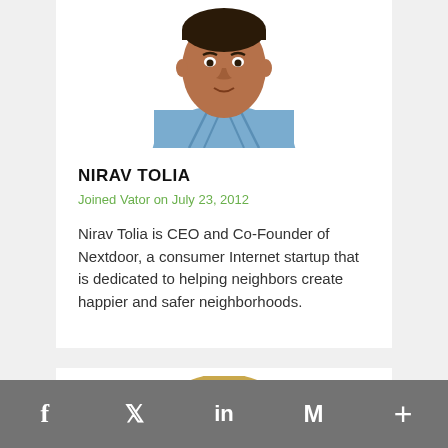[Figure (photo): Profile photo of Nirav Tolia, a young man in a blue striped shirt, headshot cropped at shoulders]
NIRAV TOLIA
Joined Vator on July 23, 2012
Nirav Tolia is CEO and Co-Founder of Nextdoor, a consumer Internet startup that is dedicated to helping neighbors create happier and safer neighborhoods.
[Figure (photo): Profile photo of a blonde woman, top of head visible, cropped at bottom of frame]
f  Twitter  in  M  +